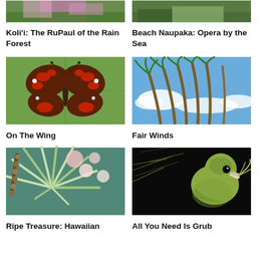[Figure (photo): Partial view of a colorful tropical flower (top of image, cropped)]
Koli'i: The RuPaul of the Rain Forest
[Figure (photo): Partial view of Beach Naupaka plant (top of image, cropped)]
Beach Naupaka: Opera by the Sea
[Figure (photo): A red and black butterfly (Kamehameha) resting on a large green leaf]
On The Wing
[Figure (photo): Palm trees bending in the wind against a blue sky with white clouds]
Fair Winds
[Figure (photo): Close-up of a Hawaiian plant with spiky green and white leaves and pink-white flowers]
Ripe Treasure: Hawaiian
[Figure (photo): Close-up of a small yellow-green bird (Hawaiian honeycreeper) against a dark background with moss]
All You Need Is Grub